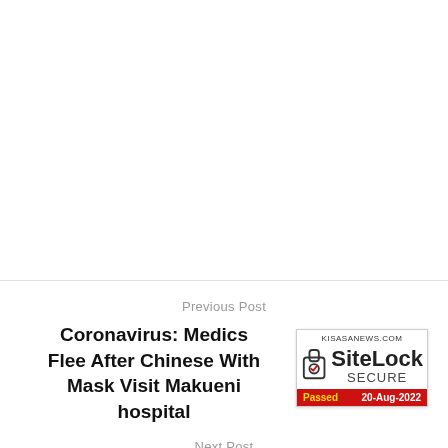[Figure (other): Empty white area (advertisement or image placeholder)]
Previous Post
Coronavirus: Medics Flee After Chinese With Mask Visit Makueni hospital
[Figure (other): SiteLock SECURE badge showing KISASANEWS.COM, Passed 20-Aug-2022]
Next Post
ALERT!!: A Strange Random Missed Call Could Be